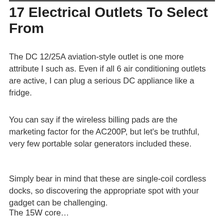17 Electrical Outlets To Select From
The DC 12/25A aviation-style outlet is one more attribute I such as. Even if all 6 air conditioning outlets are active, I can plug a serious DC appliance like a fridge.
You can say if the wireless billing pads are the marketing factor for the AC200P, but let’s be truthful, very few portable solar generators included these.
Simply bear in mind that these are single-coil cordless docks, so discovering the appropriate spot with your gadget can be challenging.
The 15W coreless wireless charger on the shelf…